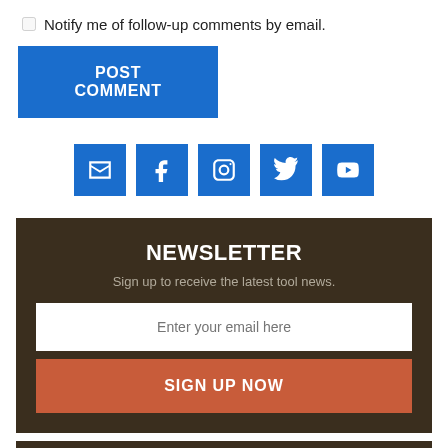Notify me of follow-up comments by email.
POST COMMENT
[Figure (infographic): Row of five blue social media icon buttons: email, Facebook, Instagram, Twitter, YouTube]
NEWSLETTER
Sign up to receive the latest tool news.
Enter your email here
SIGN UP NOW